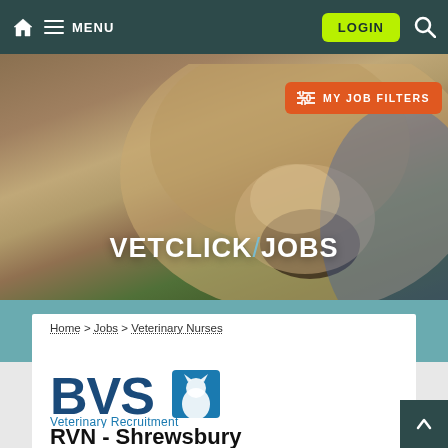MENU  LOGIN
[Figure (screenshot): Hero image of a dog (light brown Labrador) close-up face, with VETCLICK/JOBS text overlay and MY JOB FILTERS orange button]
Home > Jobs > Veterinary Nurses
[Figure (logo): BVS Veterinary Recruitment logo - blue BVS letters with animal silhouette icon]
RVN - Shrewsbury